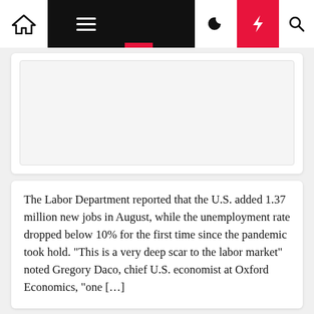Navigation bar with home, menu, dark mode, lightning/breaking news, and search icons
[Figure (screenshot): Placeholder image area within first article card]
The Labor Department reported that the U.S. added 1.37 million new jobs in August, while the unemployment rate dropped below 10% for the first time since the pandemic took hold. “This is a very deep scar to the labor market” noted Gregory Daco, chief U.S. economist at Oxford Economics, “one […]
Business
US Added 1.4 Million Jobs In August, While Unemployment Rate Fell To 8.4%